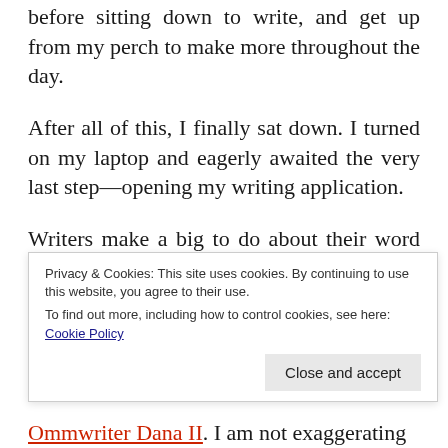before sitting down to write, and get up from my perch to make more throughout the day.
After all of this, I finally sat down. I turned on my laptop and eagerly awaited the very last step—opening my writing application.
Writers make a big to do about their word processors, and for good reason. I can't write with all of those distractions. There's too many buttons to think about, too many options. Style and font formatting. Toolbars. A plethora of views. Document elements. Layouts. The most recent versions of Word [partially visible, cut off]
Privacy & Cookies: This site uses cookies. By continuing to use this website, you agree to their use. To find out more, including how to control cookies, see here: Cookie Policy [Close and accept button]
Ommwriter Dana II. I am not exaggerating